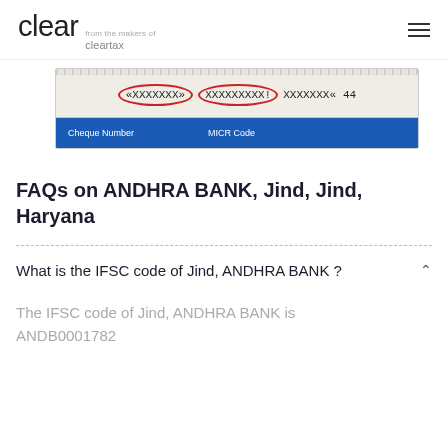clear from the makers of cleartax
[Figure (screenshot): Cheque image showing MICR code fields: Cheque Number (circled) and MICR Code (circled) with placeholder X characters on a cheque background with blue label bar]
FAQs on ANDHRA BANK, Jind, Jind, Haryana
What is the IFSC code of Jind, ANDHRA BANK ?
The IFSC code of Jind, ANDHRA BANK is ANDB0001782